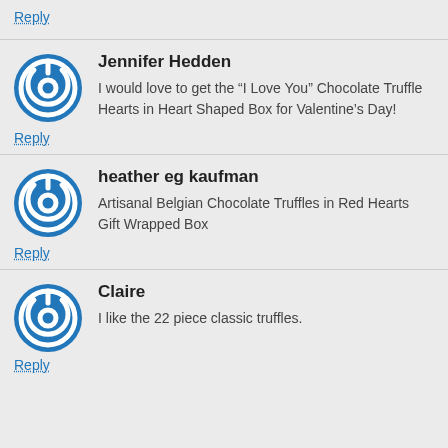Reply
Jennifer Hedden
I would love to get the “I Love You” Chocolate Truffle Hearts in Heart Shaped Box for Valentine’s Day!
Reply
heather eg kaufman
Artisanal Belgian Chocolate Truffles in Red Hearts Gift Wrapped Box
Reply
Claire
I like the 22 piece classic truffles.
Reply